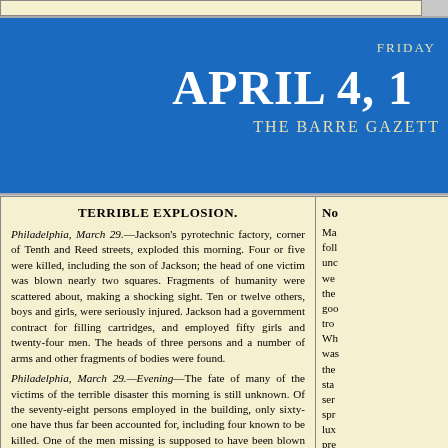FRIDAY APRIL 4, 18... THE BARRE GAZETT...
TERRIBLE EXPLOSION.
Philadelphia, March 29.—Jackson's pyrotechnic factory, corner of Tenth and Reed streets, exploded this morning. Four or five were killed, including the son of Jackson; the head of one victim was blown nearly two squares. Fragments of humanity were scattered about, making a shocking sight. Ten or twelve others, boys and girls, were seriously injured. Jackson had a government contract for filling cartridges, and employed fifty girls and twenty-four men. The heads of three persons and a number of arms and other fragments of bodies were found.
Philadelphia, March 29.—Evening—The fate of many of the victims of the terrible disaster this morning is still unknown. Of the seventy-eight persons employed in the building, only sixty-one have thus far been accounted for, including four known to be killed. One of the men missing is supposed to have been blown to atoms. Of the forty or fifty wounded at the hospitals and at their residences, it is feared that a
No... Ma... foll... unc... we... the... goo... tro... Wh... was... the... sta... ser... spr... lux... pre... inte... gon... one...